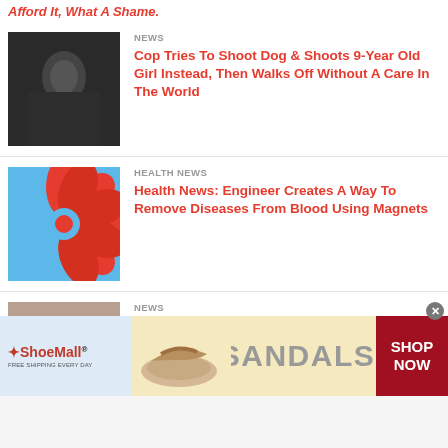Afford It, What A Shame.
NEWS
Cop Tries To Shoot Dog & Shoots 9-Year Old Girl Instead, Then Walks Off Without A Care In The World
[Figure (photo): Dark grayscale image, person on floor]
HEALTH NEWS
Health News: Engineer Creates A Way To Remove Diseases From Blood Using Magnets
[Figure (photo): Colorful abstract floral illustration in red and blue]
NEWS
2-Year Old Dies When Father Spends Over $150K Donated To Him For Treatment On Drugs & Prostitutes
[Figure (photo): Man with beard, police escorting]
[Figure (other): ShoeMall advertisement banner with sandals image and SHOP NOW button]